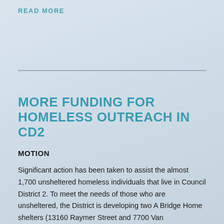READ MORE
MORE FUNDING FOR HOMELESS OUTREACH IN CD2
MOTION
Significant action has been taken to assist the almost 1,700 unsheltered homeless individuals that live in Council District 2. To meet the needs of those who are unsheltered, the District is developing two A Bridge Home shelters (13160 Raymer Street and 7700 Van